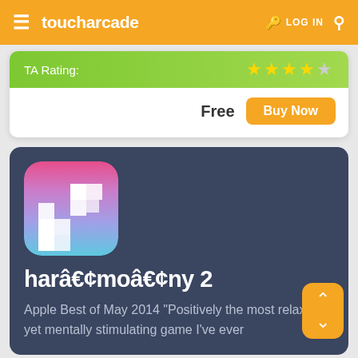toucharcade — LOG IN
[Figure (screenshot): TA Rating green bar with 4.5 stars rating]
Free
Buy Now
[Figure (illustration): App icon for harâ€¢moâ€¢ny 2 — colorful gradient puzzle game icon with white tetromino shapes]
harâ€¢moâ€¢ny 2
Apple Best of May 2014 "Positively the most relaxing yet mentally stimulating game I've ever